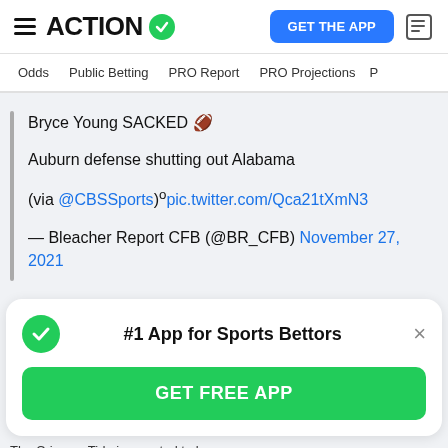ACTION — GET THE APP
Odds | Public Betting | PRO Report | PRO Projections
Bryce Young SACKED 🏈
Auburn defense shutting out Alabama
(via @CBSSports)°pic.twitter.com/Qca21tXmN3
— Bleacher Report CFB (@BR_CFB) November 27, 2021
#1 App for Sports Bettors
GET FREE APP
The Crimson Tide is reported to be…